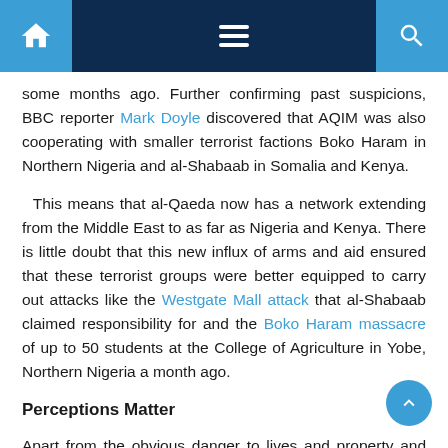Navigation bar with home, menu, and search icons
some months ago. Further confirming past suspicions, BBC reporter Mark Doyle discovered that AQIM was also cooperating with smaller terrorist factions Boko Haram in Northern Nigeria and al-Shabaab in Somalia and Kenya.
This means that al-Qaeda now has a network extending from the Middle East to as far as Nigeria and Kenya. There is little doubt that this new influx of arms and aid ensured that these terrorist groups were better equipped to carry out attacks like the Westgate Mall attack that al-Shabaab claimed responsibility for and the Boko Haram massacre of up to 50 students at the College of Agriculture in Yobe, Northern Nigeria a month ago.
Perceptions Matter
Apart from the obvious danger to lives and property and the